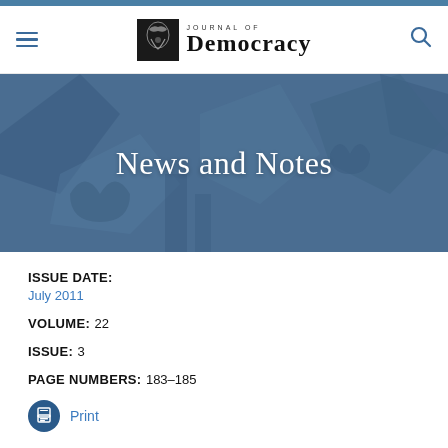Journal of Democracy
News and Notes
ISSUE DATE: July 2011
VOLUME: 22
ISSUE: 3
PAGE NUMBERS: 183-185
Print